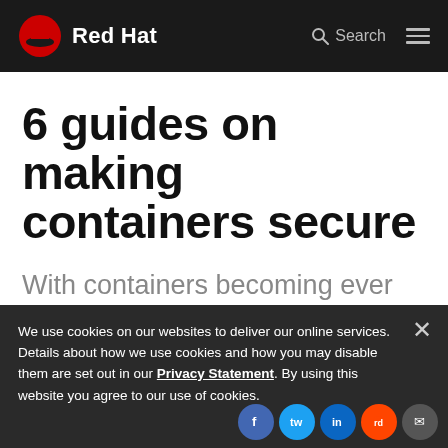Red Hat
6 guides on making containers secure
With containers becoming ever more popular, check out our top 2019 container security pieces.
We use cookies on our websites to deliver our online services. Details about how we use cookies and how you may disable them are set out in our Privacy Statement. By using this website you agree to our use of cookies.